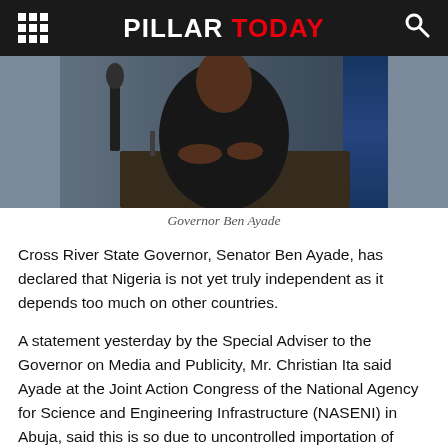PILLAR TODAY
[Figure (photo): Photo of Governor Ben Ayade seated at a table with a microphone, wearing dark clothing, gesturing with hands, blue chair visible in background]
Governor Ben Ayade
Cross River State Governor, Senator Ben Ayade, has declared that Nigeria is not yet truly independent as it depends too much on other countries.
A statement yesterday by the Special Adviser to the Governor on Media and Publicity, Mr. Christian Ita said Ayade at the Joint Action Congress of the National Agency for Science and Engineering Infrastructure (NASENI) in Abuja, said this is so due to uncontrolled importation of foreign technology into the country as no nation is truly independent if it is technologically dependent on others .